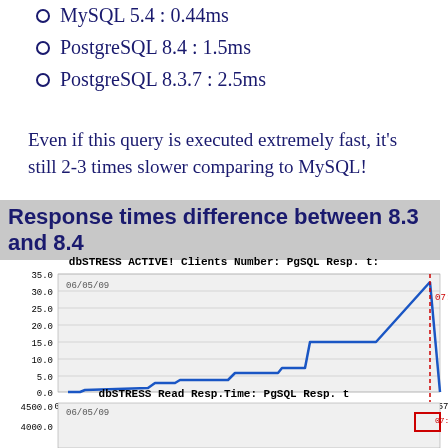MySQL 5.4 : 0.44ms
PostgreSQL 8.4 : 1.5ms
PostgreSQL 8.3.7 : 2.5ms
Even if this query is executed extremely fast, it's still 2-3 times slower comparing to MySQL!
Response times difference between 8.3 and 8.4
[Figure (line-chart): Line chart showing PgSQL response time/clients number over time from 06:12 to 07:57 on 06/05/09. Blue stepped line rises from near 0 to ~32.5, then drops sharply at 07:57. Y-axis: 0.0 to 35.0. X-axis labels: 06:12, 06:14, 06:17, 06:20, 06:22, 07:57.]
[Figure (line-chart): Partial line chart visible at bottom of page. Y-axis shows 4000.0 and 4500.0. Date 06/05/09 and time 07:57 visible. Chart is cut off.]